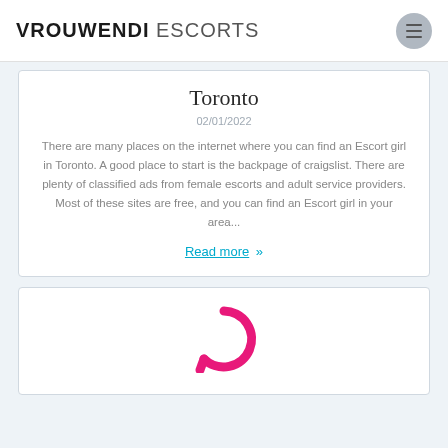VROUWENDI ESCORTS
Toronto
02/01/2022
There are many places on the internet where you can find an Escort girl in Toronto. A good place to start is the backpage of craigslist. There are plenty of classified ads from female escorts and adult service providers. Most of these sites are free, and you can find an Escort girl in your area...
Read more »
[Figure (illustration): Pink circular arc or question mark shape, partially visible at the bottom of the page]